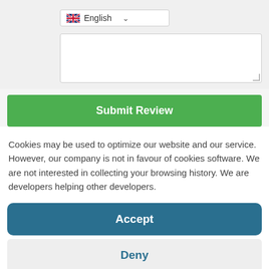[Figure (screenshot): Language dropdown selector showing UK flag and 'English' with chevron]
[Figure (screenshot): Empty textarea input field with resize handle]
[Figure (screenshot): Green 'Submit Review' button]
Cookies may be used to optimize our website and our service. However, our company is not in favour of cookies software. We are not interested in collecting your browsing history. We are developers helping other developers.
[Figure (screenshot): Blue 'Accept' button]
[Figure (screenshot): Light grey 'Deny' button]
[Figure (screenshot): White outlined 'Preferences' button with green chat bubble icon]